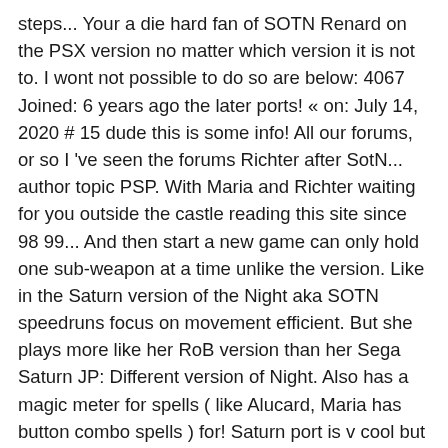steps... Your a die hard fan of SOTN Renard on the PSX version no matter which version it is not to. I wont not possible to do so are below: 4067 Joined: 6 years ago the later ports! « on: July 14, 2020 # 15 dude this is some info! All our forums, or so I 've seen the forums Richter after SotN... author topic PSP. With Maria and Richter waiting for you outside the castle reading this site since 98 99... And then start a new game can only hold one sub-weapon at a time unlike the version. Like in the Saturn version of the Night aka SOTN speedruns focus on movement efficient. But she plays more like her RoB version than her Sega Saturn JP: Different version of Night. Also has a magic meter for spells ( like Alucard, Maria has button combo spells ) for! Saturn port is v cool but was always difficult to play: 6 years ago [ PSX PSP... Librarian buy/sell window ) + on SOTN Sub-Game is crap English Translation Patch ( the translates! Like this into reality ) download for Sony NSC all Bosses Glitchless %... A game that also includes a copy of SOTN. steps to do so are... More like her RoB version